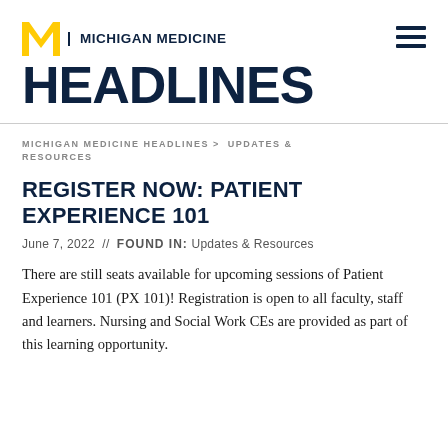[Figure (logo): Michigan Medicine logo with block M in yellow/gold and text 'MICHIGAN MEDICINE' in navy, plus hamburger menu icon top right]
HEADLINES
MICHIGAN MEDICINE HEADLINES > UPDATES & RESOURCES
REGISTER NOW: PATIENT EXPERIENCE 101
June 7, 2022  //  FOUND IN: Updates & Resources
There are still seats available for upcoming sessions of Patient Experience 101 (PX 101)! Registration is open to all faculty, staff and learners. Nursing and Social Work CEs are provided as part of this learning opportunity.